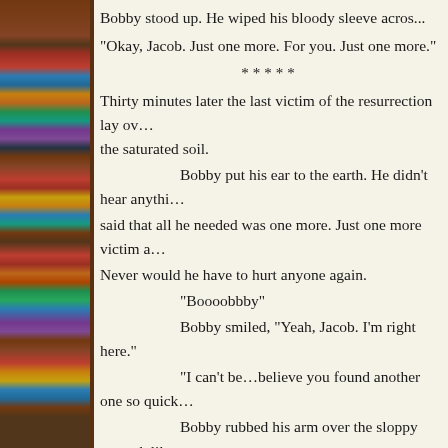[Figure (photo): Bookshelf with colorful books on the left side of the page]
Bobby stood up. He wiped his bloody sleeve acros...
“Okay, Jacob. Just one more. For you. Just one more.”
*****
Thirty minutes later the last victim of the resurrection lay ov... the saturated soil.
Bobby put his ear to the earth. He didn’t hear anythi... said that all he needed was one more. Just one more victim a... Never would he have to hurt anyone again.
“Boooobbby”
Bobby smiled, “Yeah, Jacob. I’m right here.”
“I can’t be…believe you found another one so quick...
Bobby rubbed his arm over the sloppy mound, like a... Jacob. I did it. I did it all for you. All for you, my friend.”
Jacob’s voice grew stronger, though the sound rema... you’re a true friend. I don’t know what I would do without y...